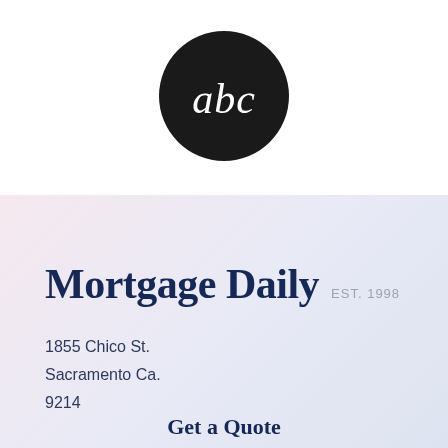[Figure (logo): ABC network logo — black circle with white lowercase 'abc' text inside]
Mortgage Daily EST. 1998
1855 Chico St.
Sacramento Ca.
9214
Get a Quote